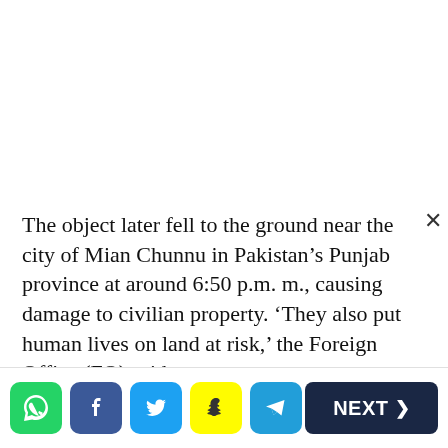The object later fell to the ground near the city of Mian Chunnu in Pakistan's Punjab province at around 6:50 p.m. m., causing damage to civilian property. 'They also put human lives on land at risk,' the Foreign Office (FO) said.
Pakistani Foreign Minister Shah Mahmood Qureshi also expressed concern about the incident. In a statement, Qureshi alleged that India had endangered innocent lives by violating Pakistan's airspace, as Saudi and Qatari airline flights, as well as domestic flights, might have